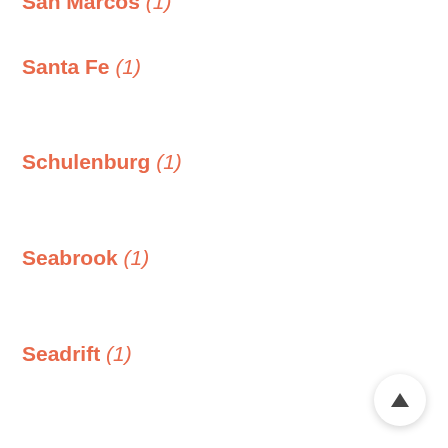San Marcos (1)
Santa Fe (1)
Schulenburg (1)
Seabrook (1)
Seadrift (1)
Seagoville (1)
Seguin (2)
Selma (1)
Shallowater (1)
Sherman (3)
South Houston (1)
Spicewood (1)